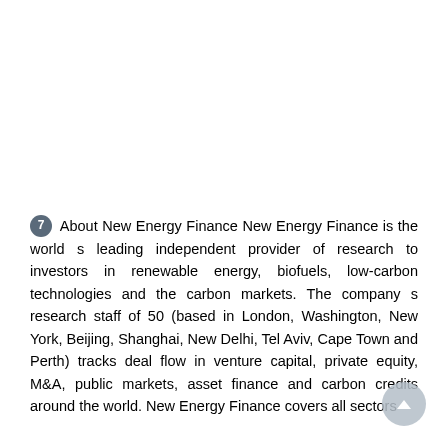7 About New Energy Finance New Energy Finance is the world s leading independent provider of research to investors in renewable energy, biofuels, low-carbon technologies and the carbon markets. The company s research staff of 50 (based in London, Washington, New York, Beijing, Shanghai, New Delhi, Tel Aviv, Cape Town and Perth) tracks deal flow in venture capital, private equity, M&A, public markets, asset finance and carbon credits around the world. New Energy Finance covers all sectors